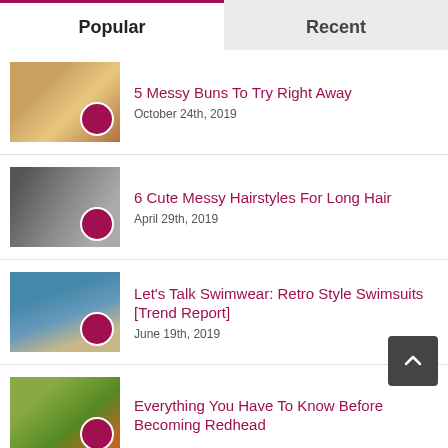Popular | Recent
5 Messy Buns To Try Right Away
October 24th, 2019
6 Cute Messy Hairstyles For Long Hair
April 29th, 2019
Let's Talk Swimwear: Retro Style Swimsuits [Trend Report]
June 19th, 2019
Everything You Have To Know Before Becoming Redhead